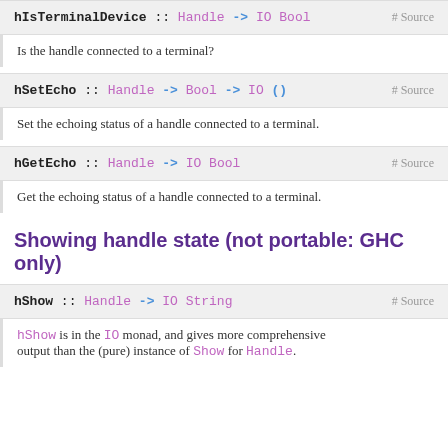hIsTerminalDevice :: Handle -> IO Bool  # Source
Is the handle connected to a terminal?
hSetEcho :: Handle -> Bool -> IO ()  # Source
Set the echoing status of a handle connected to a terminal.
hGetEcho :: Handle -> IO Bool  # Source
Get the echoing status of a handle connected to a terminal.
Showing handle state (not portable: GHC only)
hShow :: Handle -> IO String  # Source
hShow is in the IO monad, and gives more comprehensive output than the (pure) instance of Show for Handle.